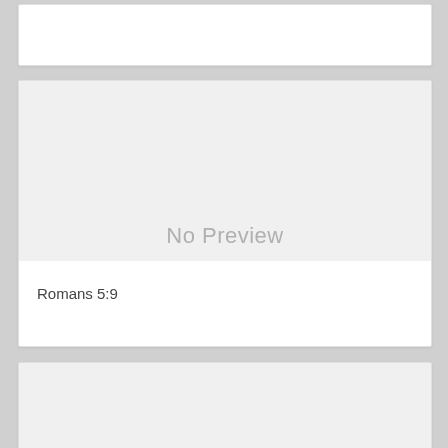[Figure (other): Partial white card at top of screen, content not visible]
[Figure (other): No Preview placeholder image area with gray background]
Romans 5:9
[Figure (other): Partial gray card at bottom of screen, content not visible]